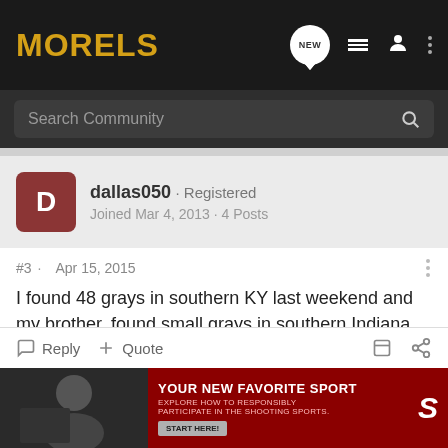MORELS
Search Community
dallas050 · Registered
Joined Mar 4, 2013 · 4 Posts
#3 · Apr 15, 2015
I found 48 grays in southern KY last weekend and my brother, found small grays in southern Indiana Monday. So, grays should be up in northern KY. Hopefully you find some soon. You should have good luck this week for sure, or this weekend.
Reply  Quote
[Figure (screenshot): Advertisement banner: YOUR NEW FAVORITE SPORT - EXPLORE HOW TO RESPONSIBLY PARTICIPATE IN THE SHOOTING SPORTS. START HERE!]